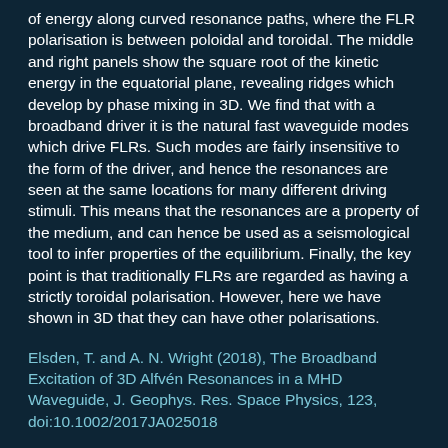of energy along curved resonance paths, where the FLR polarisation is between poloidal and toroidal. The middle and right panels show the square root of the kinetic energy in the equatorial plane, revealing ridges which develop by phase mixing in 3D. We find that with a broadband driver it is the natural fast waveguide modes which drive FLRs. Such modes are fairly insensitive to the form of the driver, and hence the resonances are seen at the same locations for many different driving stimuli. This means that the resonances are a property of the medium, and can hence be used as a seismological tool to infer properties of the equilibrium. Finally, the key point is that traditionally FLRs are regarded as having a strictly toroidal polarisation. However, here we have shown in 3D that they can have other polarisations.
Elsden, T. and A. N. Wright (2018), The Broadband Excitation of 3D Alfvén Resonances in a MHD Waveguide, J. Geophys. Res. Space Physics, 123, doi:10.1002/2017JA025018